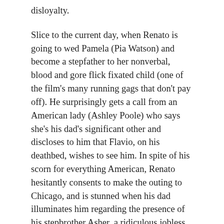disloyalty.
Slice to the current day, when Renato is going to wed Pamela (Pia Watson) and become a stepfather to her nonverbal, blood and gore flick fixated child (one of the film's many running gags that don't pay off). He surprisingly gets a call from an American lady (Ashley Poole) who says she's his dad's significant other and discloses to him that Flavio, on his deathbed, wishes to see him. In spite of his scorn for everything American, Renato hesitantly consents to make the outing to Chicago, and is stunned when his dad illuminates him regarding the presence of his stepbrother Asher, a ridiculous jobless millennial with whom he recently had an antagonistic experience in a doughnut shop.
Prompt the inescapable excursion in Asher's vintage diesel-energized Mercedes station cart, as the half-kin set out on an excursion to address a puzzle the withering